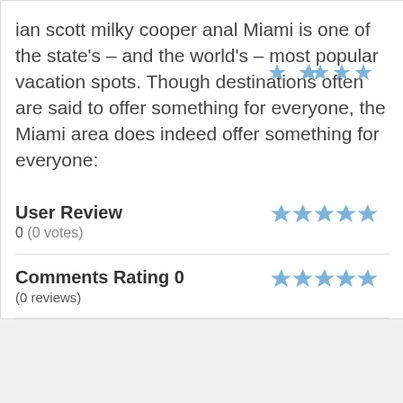ian scott milky cooper anal Miami is one of the state's – and the world's – most popular vacation spots. Though destinations often are said to offer something for everyone, the Miami area does indeed offer something for everyone:
User Review
0 (0 votes)
Comments Rating 0
(0 reviews)